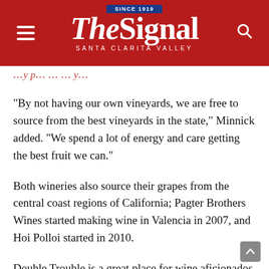The Signal — Santa Clarita Valley
“By not having our own vineyards, we are free to source from the best vineyards in the state,” Minnick added. “We spend a lot of energy and care getting the best fruit we can.”
Both wineries also source their grapes from the central coast regions of California; Pagter Brothers Wines started making wine in Valencia in 2007, and Hoi Polloi started in 2010.
Double Trouble is a great place for wine aficionados who want to learn more about wine, according to